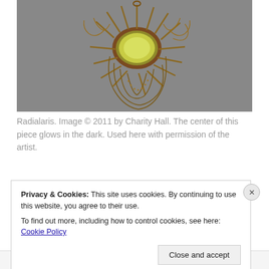[Figure (photo): Close-up photograph of a decorative brooch called Radialaris, featuring a sun-burst design with bronze/gold colored metal spiky rays and looped bead chains radiating from a central oval yellow-green glowing stone, set against a grey background.]
Radialaris. Image © 2011 by Charity Hall. The center of this piece glows in the dark. Used here with permission of the artist.
Privacy & Cookies: This site uses cookies. By continuing to use this website, you agree to their use.
To find out more, including how to control cookies, see here: Cookie Policy
Close and accept